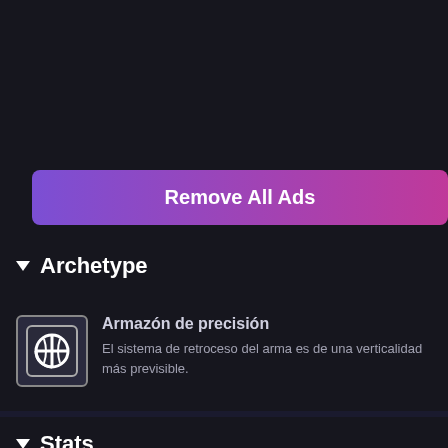[Figure (screenshot): Dark background top area of a mobile app UI]
Remove All Ads
▼ Archetype
[Figure (illustration): Archetype icon: globe/crosshair symbol on dark background with grey border]
Armazón de precisión
El sistema de retroceso del arma es de una verticalidad más previsible.
▼ Stats